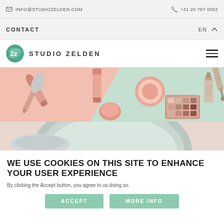INFO@STUDIOZELDEN.COM   +31 20 767 0052
CONTACT   EN
STUDIO ZELDEN
[Figure (photo): Flat lay of pink and rose-gold makeup and cosmetics products on a mint green and pink background, including lipstick, brush, eyeshadow palette, and nail polish. Below is a partial view of a round green tray with a product.]
WE USE COOKIES ON THIS SITE TO ENHANCE YOUR USER EXPERIENCE
By clicking the Accept button, you agree to us doing so.
ACCEPT   MORE INFO